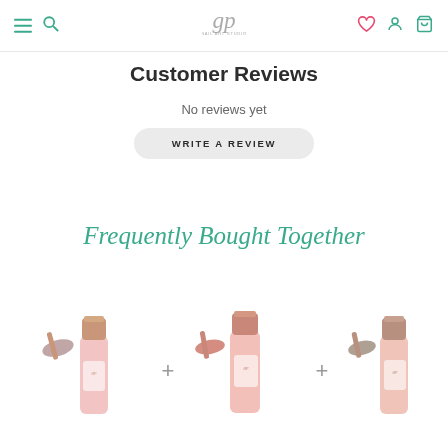Navigation bar with hamburger menu, search, logo (gp), wishlist heart, account, and cart icons
Customer Reviews
No reviews yet
WRITE A REVIEW
Frequently Bought Together
[Figure (photo): Three nail polish bottles in pink/rose-gold packaging with color swatches, separated by plus signs. Left bottle shows a mauve/taupe color, middle bottle shows a coral/pink color, right bottle shows a taupe/brown color.]